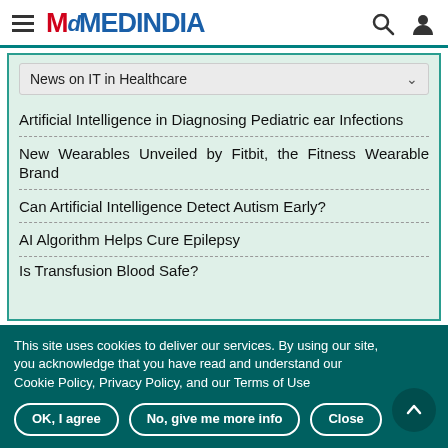MEDINDIA
News on IT in Healthcare
Artificial Intelligence in Diagnosing Pediatric ear Infections
New Wearables Unveiled by Fitbit, the Fitness Wearable Brand
Can Artificial Intelligence Detect Autism Early?
AI Algorithm Helps Cure Epilepsy
Is Transfusion Blood Safe?
This site uses cookies to deliver our services. By using our site, you acknowledge that you have read and understand our Cookie Policy, Privacy Policy, and our Terms of Use